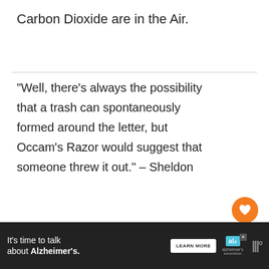Carbon Dioxide are in the Air.
“Well, there’s always the possibility that a trash can spontaneously formed around the letter, but Occam’s Razor would suggest that someone threw it out.” – Sheldon
[Figure (illustration): Illustration of a person's head profile on a pink background, shown inside an advertisement frame with a close (X) button]
[Figure (infographic): What's Next panel showing a golf photo and text '21 Funny Golf Jokes - with...']
[Figure (infographic): Bottom advertisement banner: 'It's time to talk about Alzheimer's.' with Learn More button and Alzheimer's Association logo]